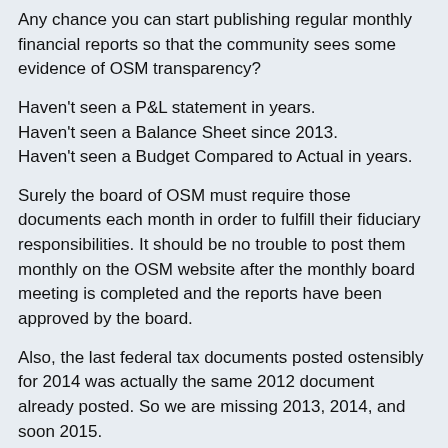Any chance you can start publishing regular monthly financial reports so that the community sees some evidence of OSM transparency?
Haven't seen a P&L statement in years.
Haven't seen a Balance Sheet since 2013.
Haven't seen a Budget Compared to Actual in years.
Surely the board of OSM must require those documents each month in order to fulfill their fiduciary responsibilities. It should be no trouble to post them monthly on the OSM website after the monthly board meeting is completed and the reports have been approved by the board.
Also, the last federal tax documents posted ostensibly for 2014 was actually the same 2012 document already posted. So we are missing 2013, 2014, and soon 2015.
Thanks
Regards, Dave